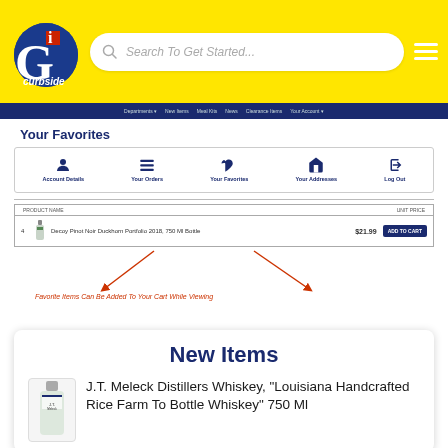[Figure (screenshot): GI Curbside grocery app screenshot showing yellow header with logo, search bar, hamburger menu, navigation bar, Your Favorites section with account icons and a product row, and a New Items card with a whiskey product listing]
GI Curbside - Search To Get Started...
Your Favorites
Account Details | Your Orders | Your Favorites | Your Addresses | Log Out
Decoy Pinot Noir Duckhorn Portfolio 2018, 750 Ml Bottle   $21.99   ADD TO CART
Favorite Items Can Be Added To Your Cart While Viewing
New Items
J.T. Meleck Distillers Whiskey, "Louisiana Handcrafted Rice Farm To Bottle Whiskey" 750 Ml